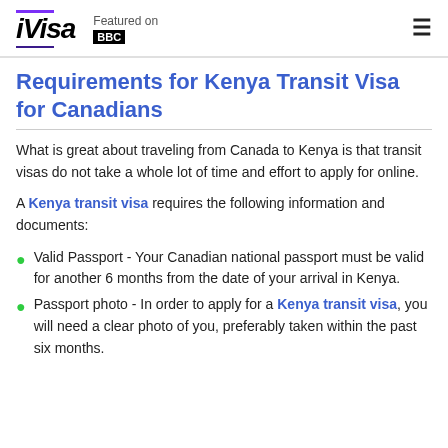iVisa — Featured on BBC
Requirements for Kenya Transit Visa for Canadians
What is great about traveling from Canada to Kenya is that transit visas do not take a whole lot of time and effort to apply for online.
A Kenya transit visa requires the following information and documents:
Valid Passport - Your Canadian national passport must be valid for another 6 months from the date of your arrival in Kenya.
Passport photo - In order to apply for a Kenya transit visa, you will need a clear photo of you, preferably taken within the past six months.